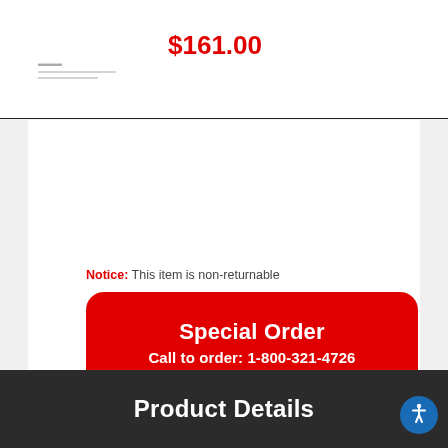$161.00
Notice: This item is non-returnable
Special Order
Call to order: 1-800-321-4726
What's in the box
Print Page
Product Details